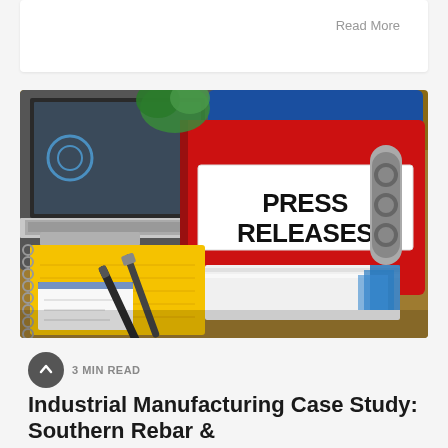Read More
[Figure (photo): Office desk scene with a red binder labeled 'PRESS RELEASES' in bold black text on a white label, a blue binder behind it, a stack of papers with blue tabbed dividers, a laptop, a yellow spiral notepad, and two pens on a cork/wooden surface. A green plant is visible in the background.]
3 MIN READ
Industrial Manufacturing Case Study: Southern Rebar &